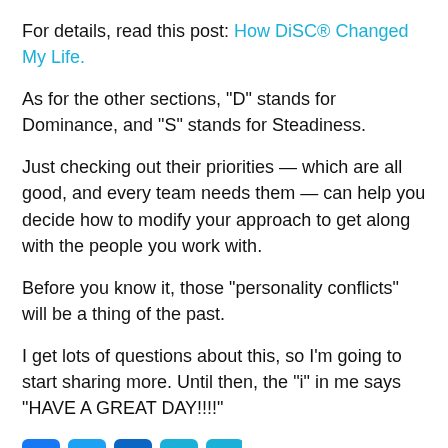For details, read this post: How DiSC® Changed My Life.
As for the other sections, “D” stands for Dominance, and “S” stands for Steadiness.
Just checking out their priorities – which are all good, and every team needs them – can help you decide how to modify your approach to get along with the people you work with.
Before you know it, those “personality conflicts” will be a thing of the past.
I get lots of questions about this, so I’m going to start sharing more. Until then, the “i” in me says “HAVE A GREAT DAY!!!!”
[Figure (other): Row of five social media icon buttons in blue/cyan colors at the bottom of the page]